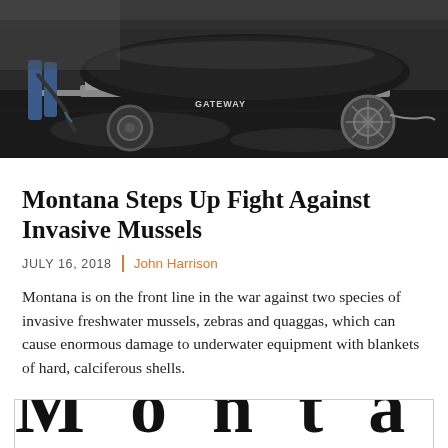[Figure (photo): Person hosing down a boat on a trailer in a parking lot. The trailer has 'GATEWAY' branding visible. Dark, wet pavement surrounds the scene.]
Montana Steps Up Fight Against Invasive Mussels
JULY 16, 2018 | John Harrison
Montana is on the front line in the war against two species of invasive freshwater mussels, zebras and quaggas, which can cause enormous damage to underwater equipment with blankets of hard, calciferous shells.
[Figure (other): Large bold serif text reading 'Montana' with wide letter spacing, partially visible, appearing to be a logo or masthead.]